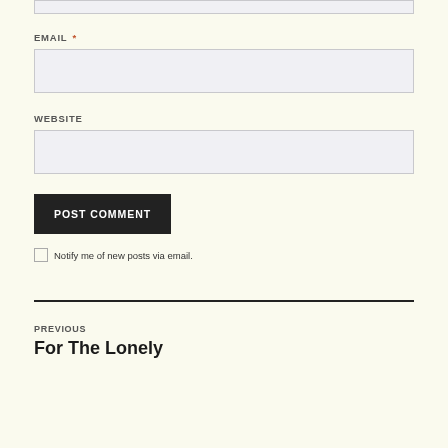EMAIL *
WEBSITE
POST COMMENT
Notify me of new posts via email.
PREVIOUS
For The Lonely